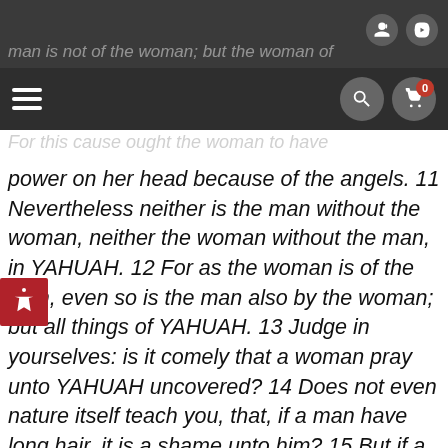man is not of the woman; but the woman of
For this cause ought the woman to have power on her head because of the angels.
11 Nevertheless neither is the man without the woman, neither the woman without the man, in YAHUAH. 12 For as the woman is of the man, even so is the man also by the woman; but all things of YAHUAH. 13 Judge in yourselves: is it comely that a woman pray unto YAHUAH uncovered? 14 Does not even nature itself teach you, that, if a man have long hair, it is a shame unto him? 15 But if a woman have long hair, it is a glory to her: for her hair is given her for a covering.